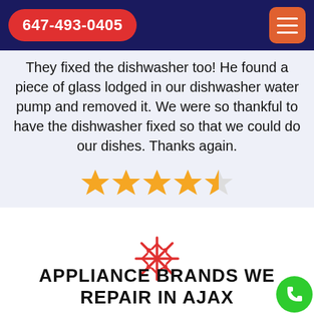647-493-0405
They fixed the dishwasher too! He found a piece of glass lodged in our dishwasher water pump and removed it. We were so thankful to have the dishwasher fixed so that we could do our dishes. Thanks again.
[Figure (other): 4.5 star rating shown as 4 filled gold stars and 1 half-filled gold star]
Smith Jordan
[Figure (illustration): Red snowflake decorative icon]
APPLIANCE BRANDS WE REPAIR IN AJAX